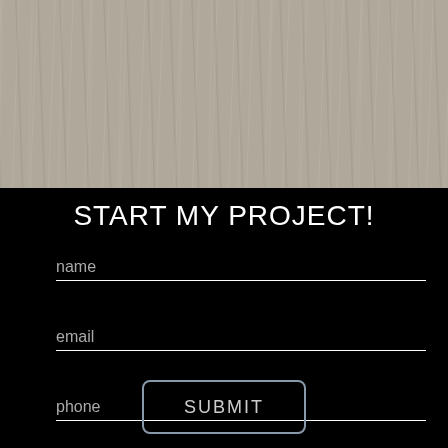[Figure (illustration): Gray wood-grain texture background filling the top portion of the page]
START MY PROJECT!
name
email
phone
SUBMIT